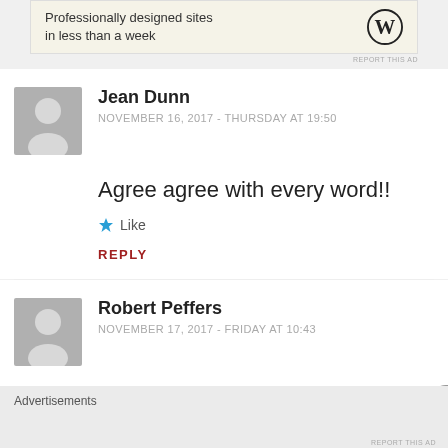[Figure (screenshot): WordPress advertisement banner with text 'Professionally designed sites in less than a week' and WordPress logo]
REPORT THIS AD
Jean Dunn
NOVEMBER 16, 2017 - THURSDAY AT 19:50
Agree agree with every word!!
★ Like
REPLY
Robert Peffers
NOVEMBER 17, 2017 - FRIDAY AT 10:43
Sorry to point out that in no way will it
Advertisements
REPORT THIS AD